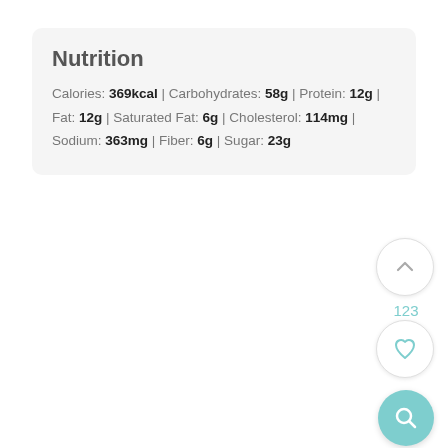Nutrition
Calories: 369kcal | Carbohydrates: 58g | Protein: 12g | Fat: 12g | Saturated Fat: 6g | Cholesterol: 114mg | Sodium: 363mg | Fiber: 6g | Sugar: 23g
[Figure (other): Circular up-arrow button (white, with border), count label '123' in teal, circular heart button (white, with border), and circular search/magnifier button (teal background) — UI action buttons on the right side of the page]